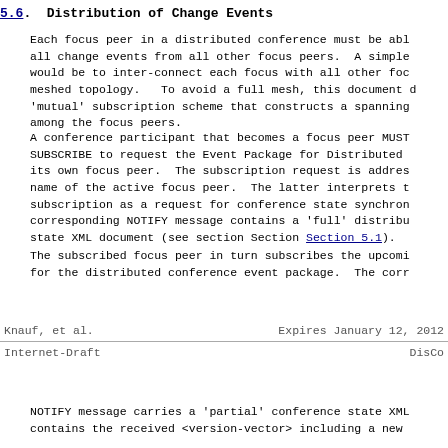5.6.  Distribution of Change Events
Each focus peer in a distributed conference must be able to receive all change events from all other focus peers.  A simple approach would be to inter-connect each focus with all other focus peers in a meshed topology.  To avoid a full mesh, this document defines a 'mutual' subscription scheme that constructs a spanning tree among the focus peers.
A conference participant that becomes a focus peer MUST use SUBSCRIBE to request the Event Package for Distributed Conferencing at its own focus peer.  The subscription request is addressed to the name of the active focus peer.  The latter interprets this subscription as a request for conference state synchronization.  The corresponding NOTIFY message contains a 'full' distributed conference state XML document (see section Section 5.1).
The subscribed focus peer in turn subscribes the upcoming peers for the distributed conference event package.  The corr
Knauf, et al.          Expires January 12, 2012
Internet-Draft                              DisCo
NOTIFY message carries a 'partial' conference state XML document that contains the received <version-vector> including a new